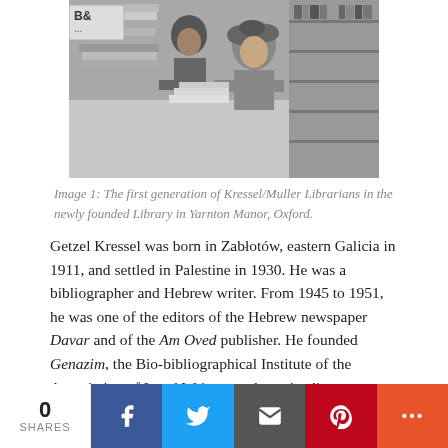[Figure (photo): Black and white photograph of people working at desks with books and papers in a library setting, labeled as the first generation of Kressel/Muller Librarians at Yarnton Manor, Oxford.]
Image 1: The first generation of Kressel/Muller Librarians in the newly founded Library in Yarnton Manor, Oxford.
Getzel Kressel was born in Zabłotów, eastern Galicia in 1911, and settled in Palestine in 1930. He was a bibliographer and Hebrew writer. From 1945 to 1951, he was one of the editors of the Hebrew newspaper Davar and of the Am Oved publisher. He founded Genazim, the Bio-bibliographical Institute of the Association of Israel Writers, and was its director (1951–60), enriching its collection of manuscripts, letters and newspaper cuttings. His most important work is Leksikon ha-Sifrut ha-Ivrit ha-Dorot ha-Aharonim (Lexicon of
0 SHARES [social sharing buttons: Facebook, Twitter, Email, Pinterest, More]